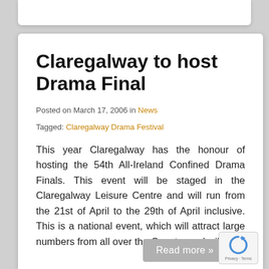Claregalway to host Drama Final
Posted on March 17, 2006 in News
Tagged: Claregalway Drama Festival
This year Claregalway has the honour of hosting the 54th All-Ireland Confined Drama Finals. This event will be staged in the Claregalway Leisure Centre and will run from the 21st of April to the 29th of April inclusive. This is a national event, which will attract large numbers from all over the Country and will...